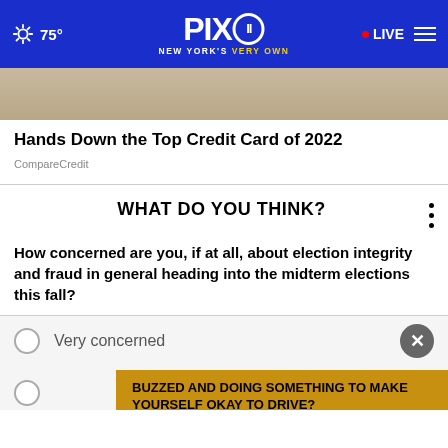75° PIX11 NEW YORK'S VERY OWN • LIVE
[Figure (photo): Partial view of a person in white clothing, advertisement image for credit card offer]
Hands Down the Top Credit Card of 2022
CompareCredit
WHAT DO YOU THINK?
How concerned are you, if at all, about election integrity and fraud in general heading into the midterm elections this fall?
Very concerned
BUZZED AND DOING SOMETHING TO MAKE YOURSELF OKAY TO DRIVE?